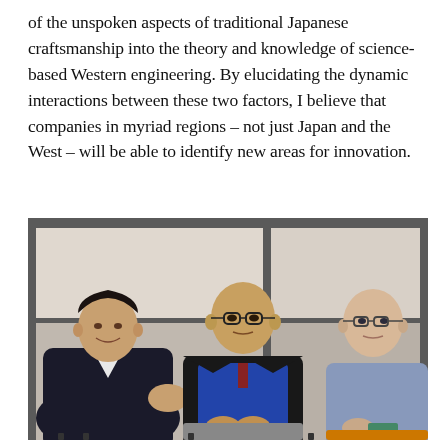of the unspoken aspects of traditional Japanese craftsmanship into the theory and knowledge of science-based Western engineering. By elucidating the dynamic interactions between these two factors, I believe that companies in myriad regions – not just Japan and the West – will be able to identify new areas for innovation.
[Figure (photo): Three men seated on chairs in a discussion setting. Left: younger East Asian man in dark suit speaking and gesturing. Center: bald East Asian man with glasses wearing black jacket over blue sweater. Right: bald Caucasian man with glasses in a light blue t-shirt. Background shows a windowed interior space.]